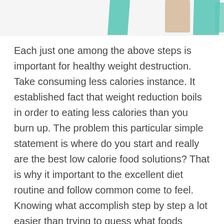[Figure (illustration): Decorative health/diet illustration showing teal and beige geometric shapes at the top of the page]
Each just one among the above steps is important for healthy weight destruction. Take consuming less calories instance. It established fact that weight reduction boils in order to eating less calories than you burn up. The problem this particular simple statement is where do you start and really are the best low calorie food solutions? That is why it important to the excellent diet routine and follow common come to feel. Knowing what accomplish step by step a lot easier than trying to guess what foods would be best substances. It is also vital comprehend about portion control the to prepare dinner.
Rather than letting this slow me down, I look in